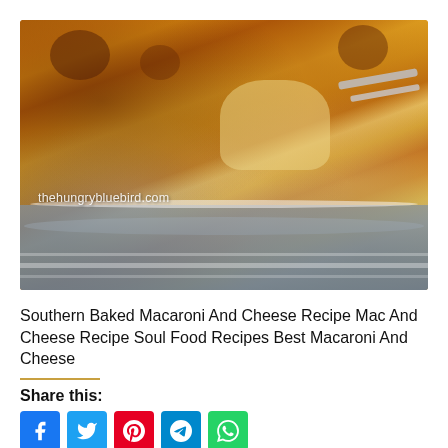[Figure (photo): Close-up photo of Southern Baked Macaroni and Cheese in a white baking dish with a serving spoon scooping out a portion, showing golden-brown cheesy crust on top, with a gray striped cloth napkin underneath. Watermark reads 'thehungrybluebird.com']
Southern Baked Macaroni And Cheese Recipe Mac And Cheese Recipe Soul Food Recipes Best Macaroni And Cheese
Share this:
[Figure (other): Row of social media share buttons: Facebook (blue), Twitter (light blue), Pinterest (red), Telegram (blue), WhatsApp (green)]